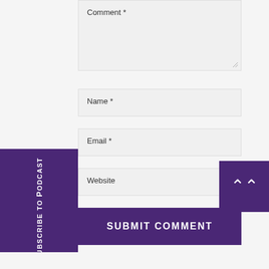Comment *
Name *
Email *
Website
SUBMIT COMMENT
Subscribe to Podcast